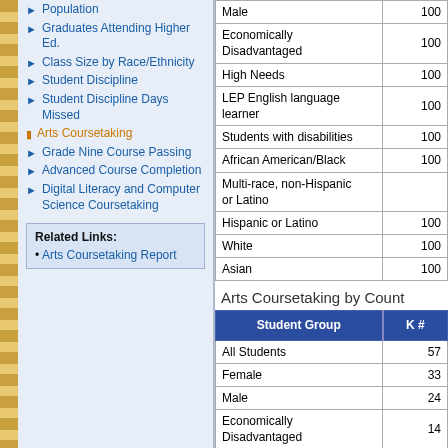Population
Graduates Attending Higher Ed.
Class Size by Race/Ethnicity
Student Discipline
Student Discipline Days Missed
Arts Coursetaking
Grade Nine Course Passing
Advanced Course Completion
Digital Literacy and Computer Science Coursetaking
| Student Group |  |
| --- | --- |
| Male | 100 |
| Economically Disadvantaged | 100 |
| High Needs | 100 |
| LEP English language learner | 100 |
| Students with disabilities | 100 |
| African American/Black | 100 |
| Multi-race, non-Hispanic or Latino |  |
| Hispanic or Latino | 100 |
| White | 100 |
| Asian | 100 |
Arts Coursetaking by Count
| Student Group | K # |
| --- | --- |
| All Students | 57 |
| Female | 33 |
| Male | 24 |
| Economically Disadvantaged | 14 |
| High Needs | 19 |
| LEP English language | 1 |